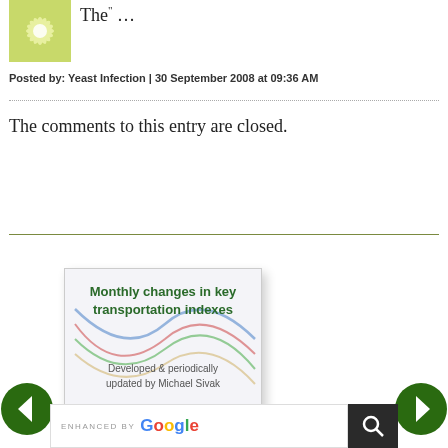[Figure (logo): Green starburst/snowflake logo thumbnail]
The" ...
Posted by: Yeast Infection | 30 September 2008 at 09:36 AM
The comments to this entry are closed.
[Figure (infographic): Banner image reading 'Monthly changes in key transportation indexes - Developed & periodically updated by Michael Sivak' with colorful check-mark lines in background]
[Figure (other): Left navigation arrow button (green circle with white left arrow)]
[Figure (other): Right navigation arrow button (green circle with white right arrow)]
ENHANCED BY Google